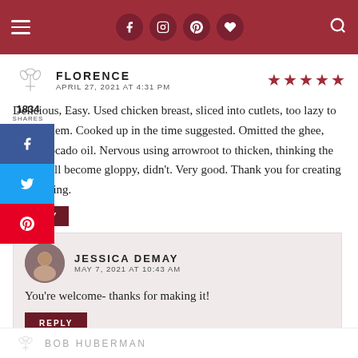Navigation header bar with hamburger menu, social icons (Facebook, Instagram, Pinterest, heart), and search icon
FLORENCE
APRIL 27, 2021 AT 4:31 PM
★★★★★
Delicious, Easy. Used chicken breast, sliced into cutlets, too lazy to pound them. Cooked up in the time suggested. Omitted the ghee, used avocado oil. Nervous using arrowroot to thicken, thinking the sauce will become gloppy, didn't. Very good. Thank you for creating and sharing.
1834
SHARES
REPLY
JESSICA DEMAY
MAY 7, 2021 AT 10:43 AM
You're welcome- thanks for making it!
REPLY
BOB HUBERMAN